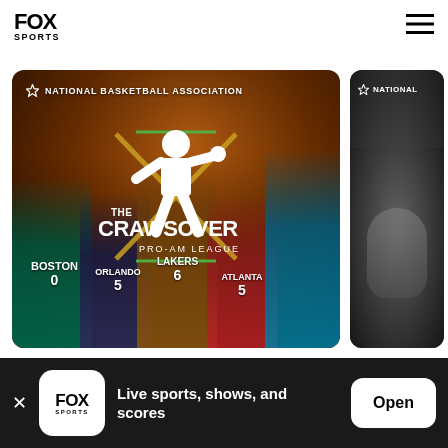[Figure (logo): FOX Sports logo in top-left navigation bar]
[Figure (screenshot): FOX Sports website screenshot showing The Crawsover Pro-Am League NBA promotional card with basketball players (Boston #0, Orlando #5, Lakers #6, Atlanta #5, and another player) on dark orange background, with a partially visible second card showing an NBA player in black and white]
[Figure (screenshot): Bottom app install banner: FOX Sports app icon, text 'Live sports, shows, and scores', and Open button]